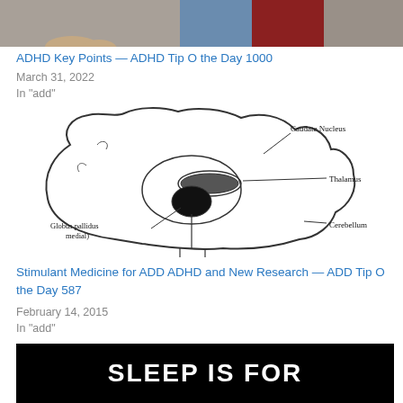[Figure (photo): Partial photo showing people in background, cropped top portion]
ADHD Key Points — ADHD Tip O the Day 1000
March 31, 2022
In "add"
[Figure (illustration): Hand-drawn diagram of a brain cross-section with labeled anatomical structures: Caudate Nucleus, Thalamus, Cerebellum, Globus pallidus medial)]
Stimulant Medicine for ADD ADHD and New Research — ADD Tip O the Day 587
February 14, 2015
In "add"
[Figure (photo): Black banner image with bold white text reading 'SLEEP IS FOR']